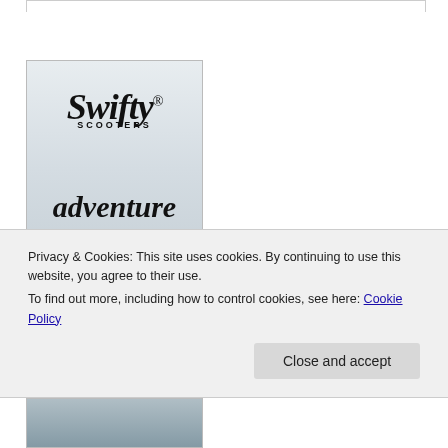[Figure (logo): Swifty Scooters logo and 'adventure awaits' text on a light blue-grey background card]
Privacy & Cookies: This site uses cookies. By continuing to use this website, you agree to their use.
To find out more, including how to control cookies, see here: Cookie Policy
[Figure (photo): Bottom portion of another image, partially visible]